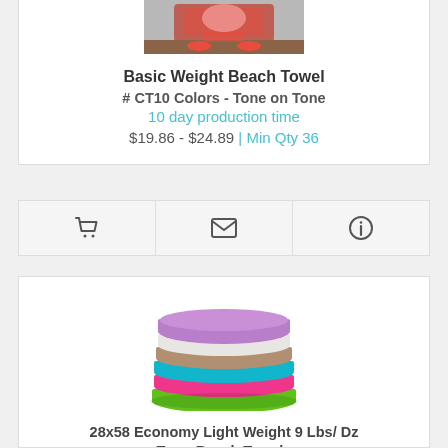[Figure (photo): Top portion of a beach towel product photo (partially visible, cropped at top)]
Basic Weight Beach Towel
# CT10 Colors - Tone on Tone
10 day production time
$19.86 - $24.89 | Min Qty 36
[Figure (infographic): Action bar with three icon buttons: shopping cart, envelope/email, and info circle]
[Figure (photo): Stack of colorful folded terry beach towels in purple, white, gray, teal/cyan, pink, and green]
28x58 Economy Light Weight 9 Lbs/ Dz Terry Beach Towels